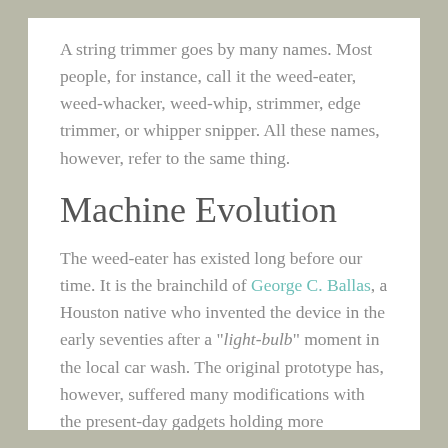A string trimmer goes by many names. Most people, for instance, call it the weed-eater, weed-whacker, weed-whip, strimmer, edge trimmer, or whipper snipper. All these names, however, refer to the same thing.
Machine Evolution
The weed-eater has existed long before our time. It is the brainchild of George C. Ballas, a Houston native who invented the device in the early seventies after a "light-bulb" moment in the local car wash. The original prototype has, however, suffered many modifications with the present-day gadgets holding more advanced features.